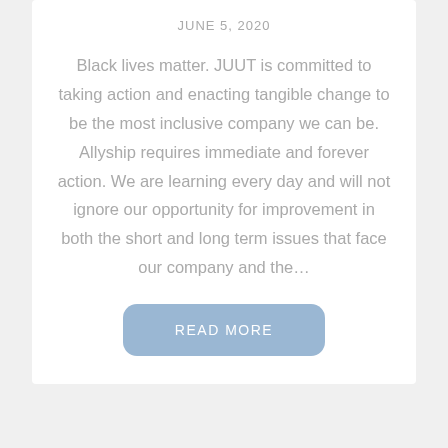JUNE 5, 2020
Black lives matter. JUUT is committed to taking action and enacting tangible change to be the most inclusive company we can be. Allyship requires immediate and forever action. We are learning every day and will not ignore our opportunity for improvement in both the short and long term issues that face our company and the…
READ MORE